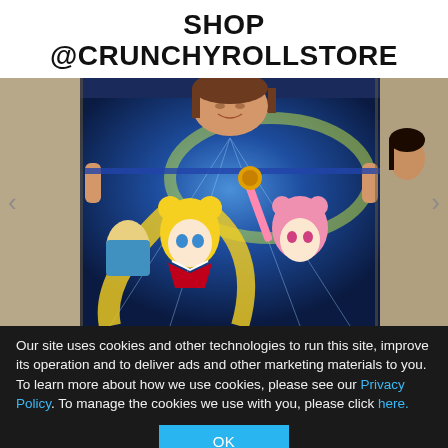SHOP @CRUNCHYROLLSTORE
[Figure (photo): A smiling woman holding up a large Sailor Moon anime blanket/tapestry featuring Sailor Moon, Chibiusa, and other Sailor Scouts characters. The blanket has a blue sparkling background with the anime characters rendered in colorful art style. Navigation arrows are visible on left and right sides of the image.]
Our site uses cookies and other technologies to run this site, improve its operation and to deliver ads and other marketing materials to you. To learn more about how we use cookies, please see our Privacy Policy. To manage the cookies we use with you, please click here.